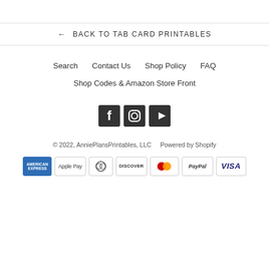← BACK TO TAB CARD PRINTABLES
Search   Contact Us   Shop Policy   FAQ
Shop Codes & Amazon Store Front
[Figure (illustration): Social media icons: Facebook, Instagram, YouTube]
© 2022, AnniePlansPrintables, LLC   Powered by Shopify
[Figure (illustration): Payment method icons: American Express, Apple Pay, Diners, Discover, Mastercard, PayPal, VISA]